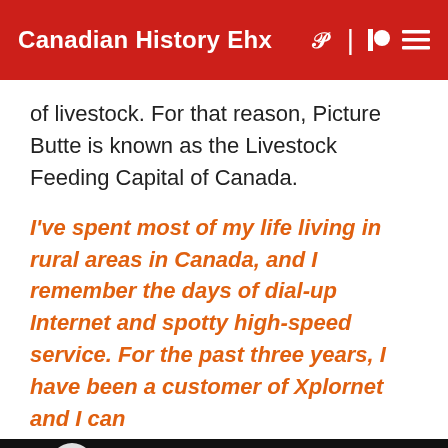Canadian History Ehx
of livestock. For that reason, Picture Butte is known as the Livestock Feeding Capital of Canada.
I've spent most of my life living in rural areas in Canada, and I remember the days of dial-up Internet and spotty high-speed service. For the past three years, I have been a customer of Xplornet and I can
[Figure (screenshot): Media player bar with play button, skip controls, timestamp 00:00, and 1x speed indicator on dark background]
[Figure (screenshot): Advertisement banner: Virginia Tire & Auto logo, 'Save Up To $100', 'Virginia Tire & Auto of Ashburn ...' with blue navigation arrow icon]